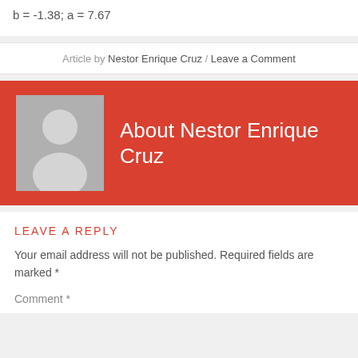Article by Nestor Enrique Cruz / Leave a Comment
[Figure (illustration): Author bio box with red background, placeholder avatar (grey square with white silhouette person icon), and text 'About Nestor Enrique Cruz']
LEAVE A REPLY
Your email address will not be published. Required fields are marked *
Comment *